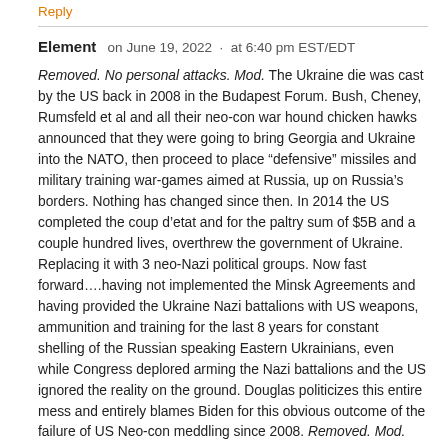Reply
Element   on June 19, 2022  ·  at 6:40 pm EST/EDT
Removed. No personal attacks. Mod. The Ukraine die was cast by the US back in 2008 in the Budapest Forum. Bush, Cheney, Rumsfeld et al and all their neo-con war hound chicken hawks announced that they were going to bring Georgia and Ukraine into the NATO, then proceed to place "defensive" missiles and military training war-games aimed at Russia, up on Russia's borders. Nothing has changed since then. In 2014 the US completed the coup d'etat and for the paltry sum of $5B and a couple hundred lives, overthrew the government of Ukraine. Replacing it with 3 neo-Nazi political groups. Now fast forward….having not implemented the Minsk Agreements and having provided the Ukraine Nazi battalions with US weapons, ammunition and training for the last 8 years for constant shelling of the Russian speaking Eastern Ukrainians, even while Congress deplored arming the Nazi battalions and the US ignored the reality on the ground. Douglas politicizes this entire mess and entirely blames Biden for this obvious outcome of the failure of US Neo-con meddling since 2008. Removed. Mod.